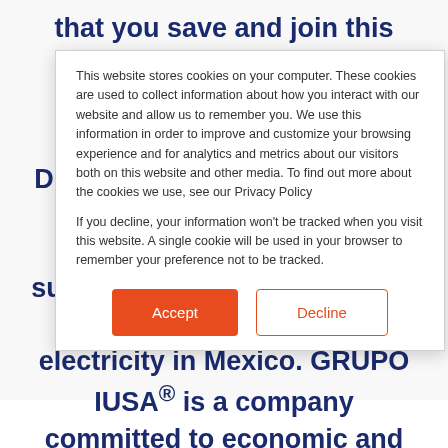that you save and join this great effort to care for the environment. TECHNOLOGICAL DEVELOPMENT IUSASOL® is shaping up to become the leading company in the supply and commercialization of clean and renewable electricity in Mexico. GRUPO IUSA® is a company committed to economic and social development, promoting development in
This website stores cookies on your computer. These cookies are used to collect information about how you interact with our website and allow us to remember you. We use this information in order to improve and customize your browsing experience and for analytics and metrics about our visitors both on this website and other media. To find out more about the cookies we use, see our Privacy Policy
If you decline, your information won't be tracked when you visit this website. A single cookie will be used in your browser to remember your preference not to be tracked.
Accept
Decline